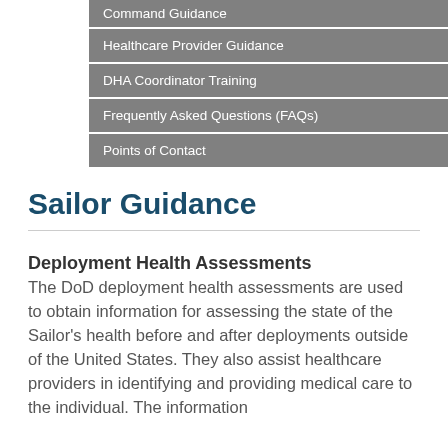| Command Guidance |
| Healthcare Provider Guidance |
| DHA Coordinator Training |
| Frequently Asked Questions (FAQs) |
| Points of Contact |
Sailor Guidance
Deployment Health Assessments
The DoD deployment health assessments are used to obtain information for assessing the state of the Sailor's health before and after deployments outside of the United States. They also assist healthcare providers in identifying and providing medical care to the individual. The information